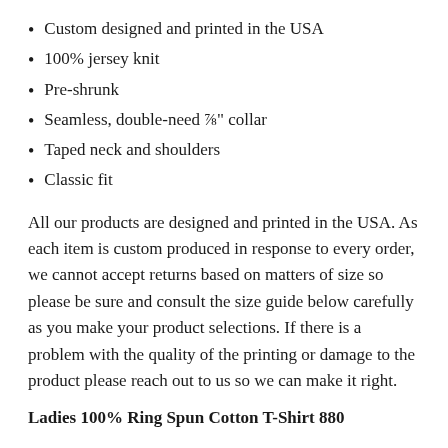Custom designed and printed in the USA
100% jersey knit
Pre-shrunk
Seamless, double-need ⅞" collar
Taped neck and shoulders
Classic fit
All our products are designed and printed in the USA. As each item is custom produced in response to every order, we cannot accept returns based on matters of size so please be sure and consult the size guide below carefully as you make your product selections. If there is a problem with the quality of the printing or damage to the product please reach out to us so we can make it right.
Ladies 100% Ring Spun Cotton T-Shirt 880